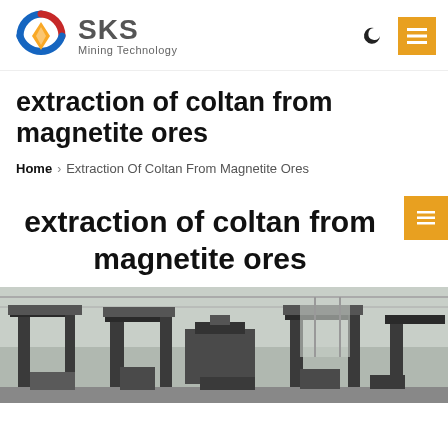SKS Mining Technology
extraction of coltan from magnetite ores
Home › Extraction Of Coltan From Magnetite Ores
extraction of coltan from magnetite ores
[Figure (photo): Industrial mining machinery / processing equipment in a large facility, showing heavy metal frames and conveyor structures in a warehouse setting.]